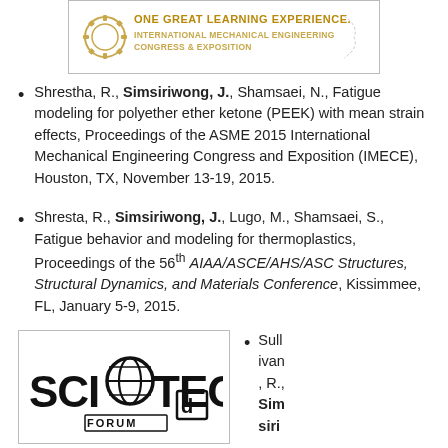[Figure (logo): ASME IMECE logo: ONE GREAT LEARNING EXPERIENCE. INTERNATIONAL MECHANICAL ENGINEERING CONGRESS & EXPOSITION]
Shrestha, R., Simsiriwong, J., Shamsaei, N., Fatigue modeling for polyether ether ketone (PEEK) with mean strain effects, Proceedings of the ASME 2015 International Mechanical Engineering Congress and Exposition (IMECE), Houston, TX, November 13-19, 2015.
Shresta, R., Simsiriwong, J., Lugo, M., Shamsaei, S., Fatigue behavior and modeling for thermoplastics, Proceedings of the 56th AIAA/ASCE/AHS/ASC Structures, Structural Dynamics, and Materials Conference, Kissimmee, FL, January 5-9, 2015.
[Figure (logo): SciTech Forum logo]
Sullivan, R., Simsiri...